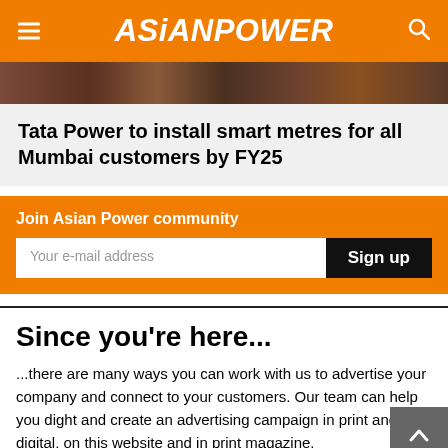ASiANPOWER
[Figure (photo): Partial view of a bookshelf or store display with books/magazines, dark tones, cropped strip]
Tata Power to install smart metres for all Mumbai customers by FY25
Join Asian Power community
Your e-mail address
Sign up
Since you're here...
...there are many ways you can work with us to advertise your company and connect to your customers. Our team can help you dight and create an advertising campaign in print and digital, on this website and in print magazine.